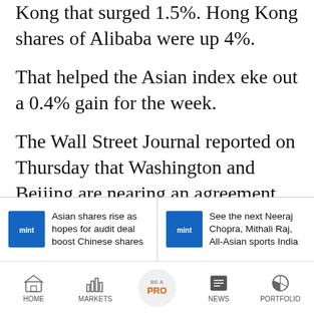Kong that surged 1.5%. Hong Kong shares of Alibaba were up 4%.
That helped the Asian index eke out a 0.4% gain for the week.
The Wall Street Journal reported on Thursday that Washington and Beijing are nearing an agreement that allows American accounting regulators to travel to Hong Kong to inspect audit records of U.S.-listed Chinese companies.
Hong Kong's Hang Seng Index rose 0.7%, Japan's Nikkei advanced 0.9%, while South
[Figure (screenshot): Related article card: Asian shares rise as hopes for audit deal boost Chinese shares]
[Figure (screenshot): Related article card: See the next Neeraj Chopra, Mithali Raj, All-Asian sports India]
[Figure (infographic): Bottom navigation bar with HOME, MARKETS, BE A PRO, NEWS, PORTFOLIO tabs]